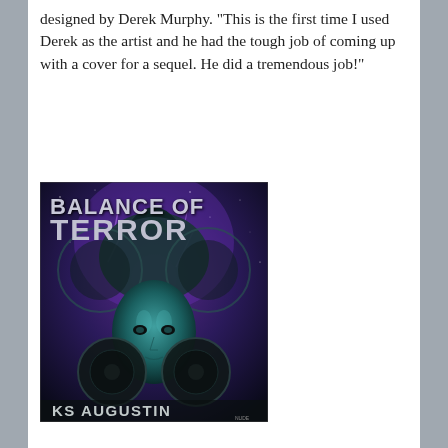designed by Derek Murphy. "This is the first time I used Derek as the artist and he had the tough job of coming up with a cover for a sequel. He did a tremendous job!"
[Figure (illustration): Book cover for 'Balance of Terror' by KS Augustin. Features a sci-fi humanoid face with a mohawk-like structure, surrounded by circular disc shapes, against a purple/teal space background with lightning. Title text 'BALANCE OF TERROR' in metallic letters at top, author name 'KS AUGUSTIN' at bottom.]